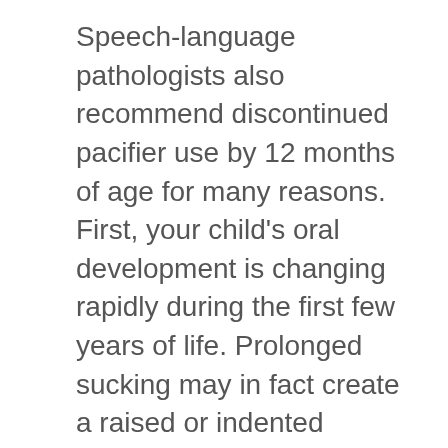Speech-language pathologists also recommend discontinued pacifier use by 12 months of age for many reasons. First, your child's oral development is changing rapidly during the first few years of life. Prolonged sucking may in fact create a raised or indented palate, resulting in an oral cavity that is too large for typical articulation. This may manifest as a speech disorder around four to five years of age, often requiring therapy to remediate. Additionally, sucking on a pacifier encourages an immature suck-swallow pattern, resulting in possible feeding difficulties and articulation concerns.
Pediatric dentists recommend that pacifier use be discontinued by 24 months of age at the latest. The constant sucking on a foreign object beyond 24 months may cause the palate, gums, and teeth to develop atypically. This is primarily seen in the